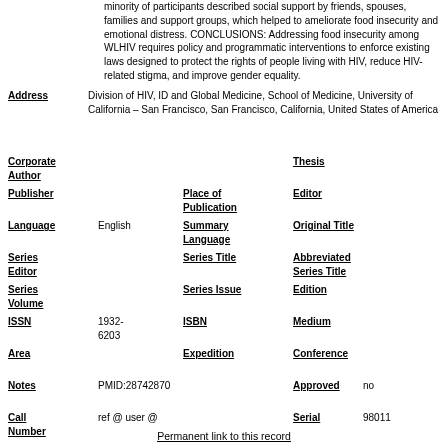minority of participants described social support by friends, spouses, families and support groups, which helped to ameliorate food insecurity and emotional distress. CONCLUSIONS: Addressing food insecurity among WLHIV requires policy and programmatic interventions to enforce existing laws designed to protect the rights of people living with HIV, reduce HIV-related stigma, and improve gender equality.
Address: Division of HIV, ID and Global Medicine, School of Medicine, University of California – San Francisco, San Francisco, California, United States of America
Corporate Author | Thesis
Publisher | Place of Publication | Editor
Language: English | Summary Language | Original Title
Series Editor | Series Title | Abbreviated Series Title
Series Volume | Series Issue | Edition
ISSN: 1932-6203 | ISBN | Medium
Area | Expedition | Conference
Notes: PMID:28742870 | Approved: no
Call Number: ref @ user @ | Serial: 98011
Permanent link to this record